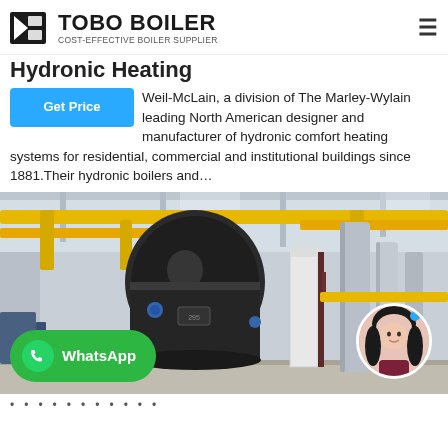TOBO BOILER — COST-EFFECTIVE BOILER SUPPLIER
Hydronic Heating
Weil-McLain, a division of The Marley-Wylain leading North American designer and manufacturer of hydronic comfort heating systems for residential, commercial and institutional buildings since 1881. Their hydronic boilers and...
[Figure (photo): Industrial boiler room with large dark cylindrical boiler, yellow overhead pipes, white columns, and silver duct piping. A WhatsApp contact button overlay appears at bottom left, and a female assistant avatar at bottom right.]